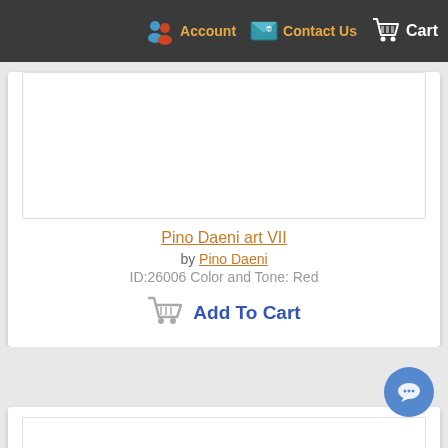Account   Contact Us   Cart
[Figure (photo): White product image area for Pino Daeni art VII]
Pino Daeni art VII
by Pino Daeni
ID:26006 Color and Tone: Red
Add To Cart
[Figure (photo): Partial second product card with white image box at bottom of page]